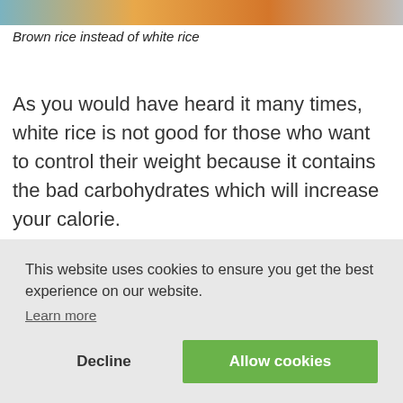[Figure (photo): Partial image strip at top of page showing food items including rice dishes in orange and blue tones]
Brown rice instead of white rice
As you would have heard it many times, white rice is not good for those who want to control their weight because it contains the bad carbohydrates which will increase your calorie.
This website uses cookies to ensure you get the best experience on our website. Learn more
Decline
Allow cookies